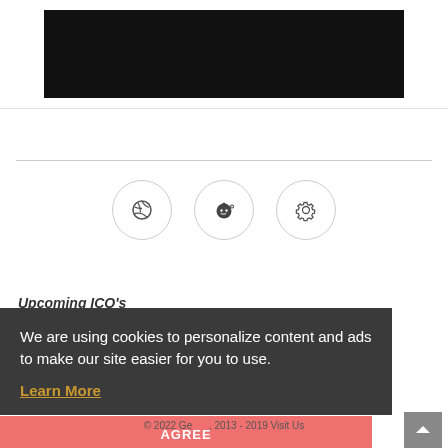[Figure (photo): Black image/video thumbnail area at top of page]
[Figure (other): Three circular social media icon buttons: Dribbble, Reddit, and a gear/settings icon]
Upcoming ICO's
We are using cookies to personalize content and ads to make our site easier for you to use.
Learn More
AGREE
© 2022 Ge      , 2013 - 2019 Visit Us